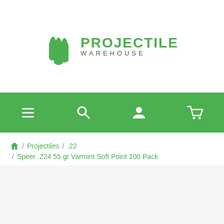[Figure (logo): Projectile Warehouse logo with green bullet/projectile icons and green 'PROJECTILE' text above grey 'WAREHOUSE' text]
[Figure (infographic): Green navigation bar with white icons: hamburger menu, search magnifier, user profile, shopping cart]
/ Projectiles / .22 / Speer .224 55 gr Varmint Soft Point 100 Pack